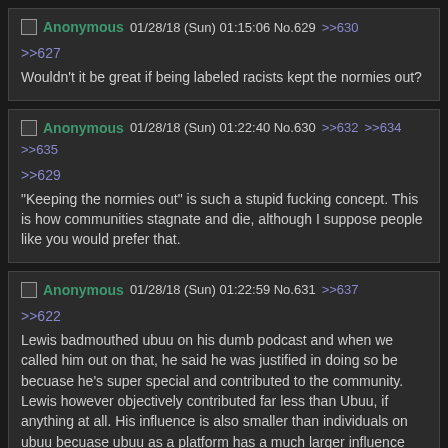Anonymous 01/28/18 (Sun) 01:15:06 No.629 >>630
>>627
Wouldn't it be great if being labeled racists kept the normies out?
Anonymous 01/28/18 (Sun) 01:22:40 No.630 >>632 >>634 >>635
>>629
"Keeping the normies out" is such a stupid fucking concept. This is how communities stagnate and die, although I suppose people like you would prefer that.
Anonymous 01/28/18 (Sun) 01:22:59 No.631 >>637
>>622
Lewis badmouthed ubuu on his dumb podcast and when we called him out on that, he said he was justified in doing so be becuase he's super special and contributed to the community. Lewis however objectively contributed far less than Ubuu, if anything at all. His influence is also smaller than individuals on ubuu becuase ubuu as a platform has a much larger influence than him alone, and we fuel ubuu. You cannot deny this.  Lewis is a faggot and he was not in the right when badmouthing ubuu. He is completely insignificant compared to an average person and does not deserve special treatment. The remote possibility of him playing a part in introducing